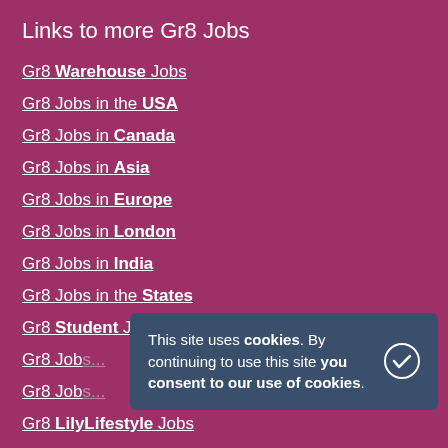Links to more Gr8 Jobs
Gr8 Warehouse Jobs
Gr8 Jobs in the USA
Gr8 Jobs in Canada
Gr8 Jobs in Asia
Gr8 Jobs in Europe
Gr8 Jobs in London
Gr8 Jobs in India
Gr8 Jobs in the States
Gr8 Student Jobs
Gr8 Jobs...
Gr8 Jobs...
Gr8 LilyLifestyle Jobs
This site uses cookies. By continuing to use this site you consent to our use of cookies.